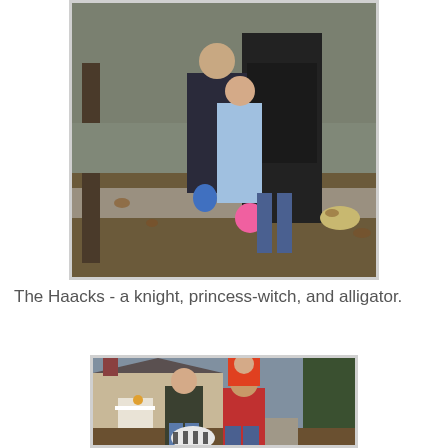[Figure (photo): Family group photo outdoors. Children in Halloween costumes including a knight and princess-witch, an adult in dark clothes, and a dog in the background on a sidewalk with fallen leaves.]
The Haacks - a knight, princess-witch, and alligator.
[Figure (photo): Family photo outdoors in front of a house. A woman in a dark jacket, a man in a red sweater holding a toddler in a colorful costume on his shoulders, and a dog in a striped costume in the foreground. Halloween decorations visible on porch.]